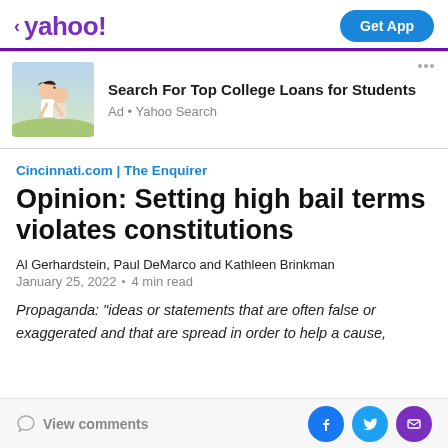< yahoo!   Get App
[Figure (photo): Two young women laughing outdoors, one giving the other a piggyback ride in a sunny field]
Search For Top College Loans for Students
Ad • Yahoo Search
Cincinnati.com | The Enquirer
Opinion: Setting high bail terms violates constitutions
Al Gerhardstein, Paul DeMarco and Kathleen Brinkman
January 25, 2022 · 4 min read
Propaganda: "ideas or statements that are often false or exaggerated and that are spread in order to help a cause,
View comments